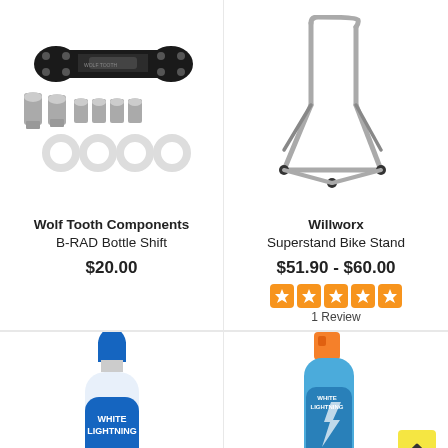[Figure (photo): Wolf Tooth Components B-RAD Bottle Shift product photo showing black metal adapter with screws and white o-rings]
Wolf Tooth Components
B-RAD Bottle Shift
$20.00
[Figure (photo): Willworx Superstand Bike Stand product photo showing silver metal kickstand]
Willworx
Superstand Bike Stand
$51.90 - $60.00
[Figure (other): 5 orange star rating boxes]
1 Review
[Figure (photo): White Lightning bicycle chain lube bottle, partially cropped]
[Figure (photo): White Lightning product with orange cap, partially cropped, with yellow back-to-top button]